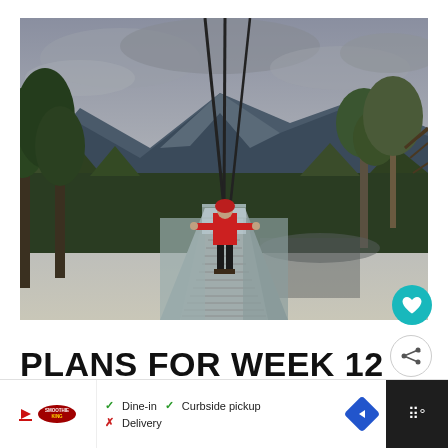[Figure (photo): Person in red jacket standing on a metal suspension bridge/walkway overlooking a forested valley with mountains and overcast sky in the background. Trees frame both sides.]
PLANS FOR WEEK 12
Dine-in  Curbside pickup  Delivery (with checkmarks and X marks). Smoothie King logo partial. Blue navigation arrow. Dark bar with degree symbol icon.